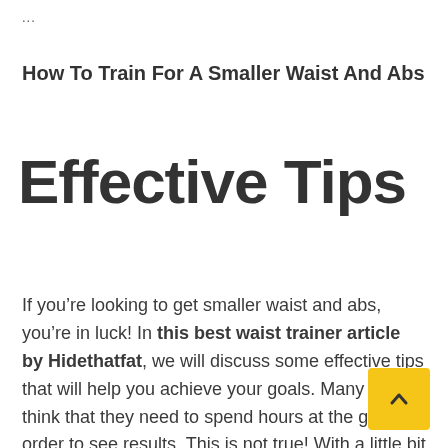...
How To Train For A Smaller Waist And Abs
Effective Tips
If you’re looking to get smaller waist and abs, you’re in luck! In this best waist trainer article by Hidethatfat, we will discuss some effective tips that will help you achieve your goals. Many people think that they need to spend hours at the gym in order to see results. This is not true! With a little bit of dedication and hard work, you can achieve the body you’ve